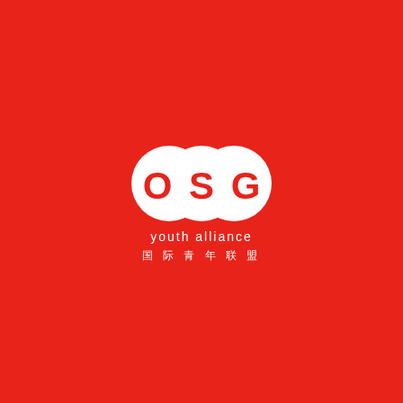[Figure (logo): OSG Youth Alliance logo on red background. Three overlapping white circles containing the letters O, S, G in red. Below the circles: 'youth alliance' in white lowercase letters, and '国 际 青 年 联 盟' in white Chinese characters.]